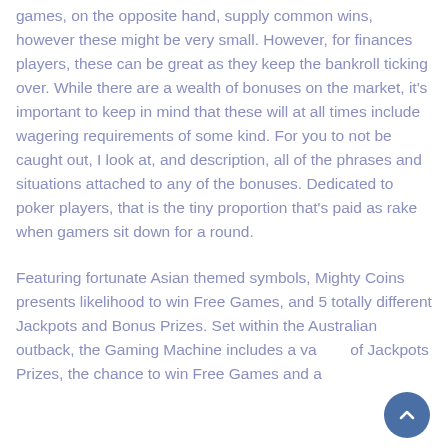games, on the opposite hand, supply common wins, however these might be very small. However, for finances players, these can be great as they keep the bankroll ticking over. While there are a wealth of bonuses on the market, it's important to keep in mind that these will at all times include wagering requirements of some kind. For you to not be caught out, I look at, and description, all of the phrases and situations attached to any of the bonuses. Dedicated to poker players, that is the tiny proportion that's paid as rake when gamers sit down for a round.
Featuring fortunate Asian themed symbols, Mighty Coins presents likelihood to win Free Games, and 5 totally different Jackpots and Bonus Prizes. Set within the Australian outback, the Gaming Machine includes a variety of Jackpots Prizes, the chance to win Free Games and a...